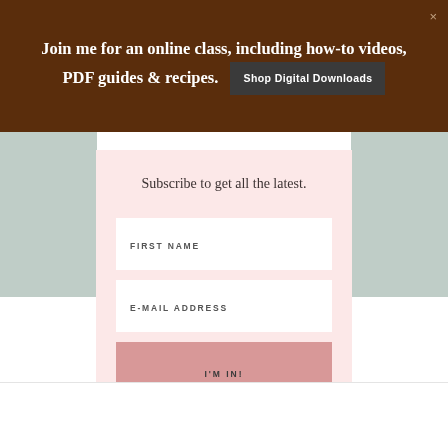Join me for an online class, including how-to videos, PDF guides & recipes.  Shop Digital Downloads
Subscribe to get all the latest.
FIRST NAME
E-MAIL ADDRESS
I'M IN!